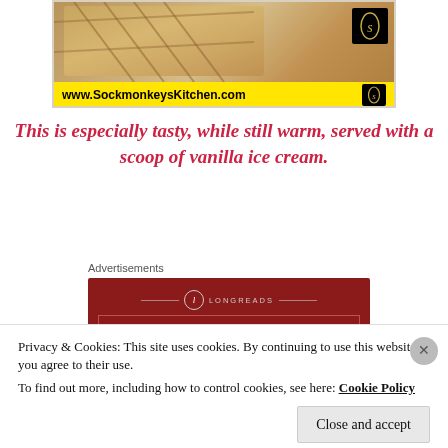[Figure (photo): Cropped image of a baked pie or tart dish with a yellow banner showing www.SockmonkeysKitchen.com and a black logo icon]
This is especially tasty, while still warm, served with a scoop of vanilla ice cream.
Advertisements
[Figure (other): Longreads advertisement: dark red background with circular logo, text reading 'The best stories on the web – ours, and everyone else's.']
[Figure (other): Yellow advertisement banner (partially visible)]
Privacy & Cookies: This site uses cookies. By continuing to use this website, you agree to their use.
To find out more, including how to control cookies, see here: Cookie Policy
Close and accept